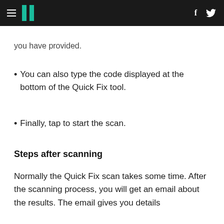≡ // f 🐦
you have provided.
You can also type the code displayed at the bottom of the Quick Fix tool.
Finally, tap to start the scan.
Steps after scanning
Normally the Quick Fix scan takes some time. After the scanning process, you will get an email about the results. The email gives you details